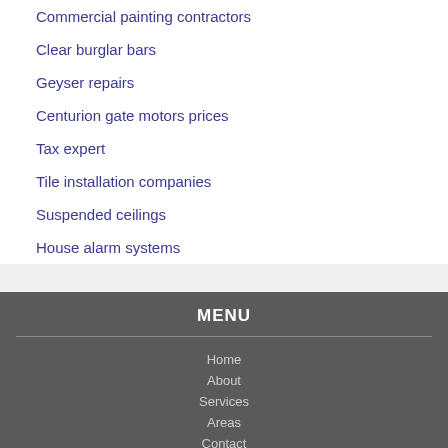Commercial painting contractors
Clear burglar bars
Geyser repairs
Centurion gate motors prices
Tax expert
Tile installation companies
Suspended ceilings
House alarm systems
MENU
Home
About
Services
Areas
Contact
CONTACT US